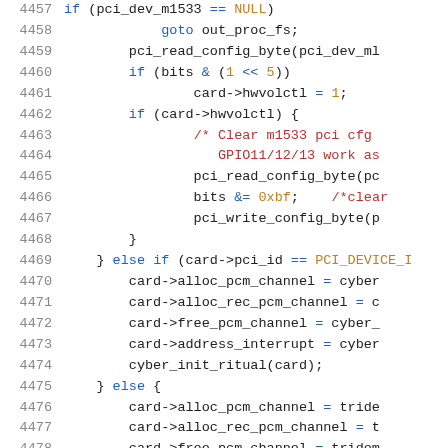[Figure (screenshot): Source code listing showing C code lines 4457-4478, with syntax highlighting. Line numbers in gray on left, keywords in blue, comments in red, constants/numbers in gold/brown, and default code in dark/black.]